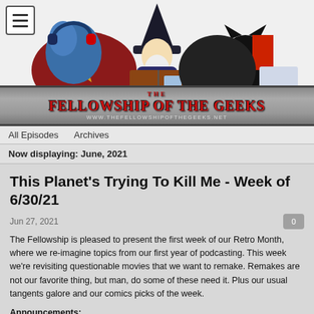[Figure (illustration): The Fellowship of the Geeks website header banner featuring illustrated characters: a blue dinosaur/dragon with headphones, a wizard in a black hat with white beard holding a book, and a black cat near a laptop. A hamburger menu icon is at top-left, and a search bar is at top-right. The scroll banner at the bottom reads 'THE FELLOWSHIP OF THE GEEKS' with website URL below.]
All Episodes   Archives
Now displaying: June, 2021
This Planet's Trying To Kill Me - Week of 6/30/21
Jun 27, 2021
The Fellowship is pleased to present the first week of our Retro Month, where we re-imagine topics from our first year of podcasting. This week we're revisiting questionable movies that we want to remake. Remakes are not our favorite thing, but man, do some of these need it. Plus our usual tangents galore and our comics picks of the week.
Announcements:
We found a way to do our monthly meetups - on Discord! Come hang out with us in the...